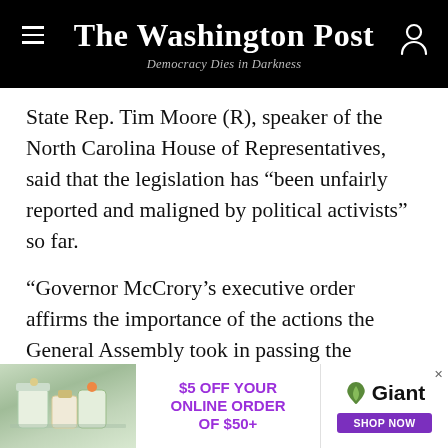The Washington Post — Democracy Dies in Darkness
State Rep. Tim Moore (R), speaker of the North Carolina House of Representatives, said that the legislation has “been unfairly reported and maligned by political activists” so far.
“Governor McCrory’s executive order affirms the importance of the actions the General Assembly took in passing the Bathroom Bill to protect North Carolina citizens from extremists’ efforts to undermine civility and normalcy in our everyday lives,” Moore said in a statement.
[Figure (infographic): Advertisement banner: $5 OFF YOUR ONLINE ORDER OF $50+ at Giant Food, with grocery items image on the left and a SHOP NOW button]